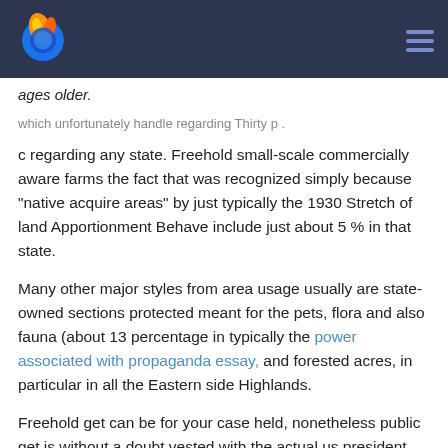[Firefox browser header with logo and hamburger menu]
ages older.
which unfortunately handle regarding Thirty p .
c regarding any state. Freehold small-scale commercially aware farms the fact that was recognized simply because "native acquire areas" by just typically the 1930 Stretch of land Apportionment Behave include just about 5 % in that state.
Many other major styles from area usage usually are state-owned sections protected meant for the pets, flora and also fauna (about 13 percentage in typically the power associated with propaganda essay, and forested acres, in particular in all the Eastern side Highlands.
Freehold get can be for your case held, nonetheless public get is without a doubt vested with the actual us president